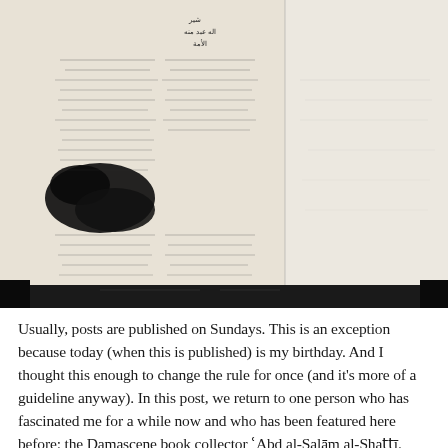[Figure (photo): Scanned image of an Arabic manuscript page showing handwritten Arabic text arranged in genealogical or tabular tree-like columns, with a black ink blot visible on the left side. The manuscript appears to be a two-page spread with a right half that is mostly blank/faded.]
Usually, posts are published on Sundays. This is an exception because today (when this is published) is my birthday. And I thought this enough to change the rule for once (and it's more of a guideline anyway). In this post, we return to one person who has fascinated me for a while now and who has been featured here before: the Damascene book collector ʿAbd al-Salām al-Shaṭṭī. However, this time we are not just interested in his